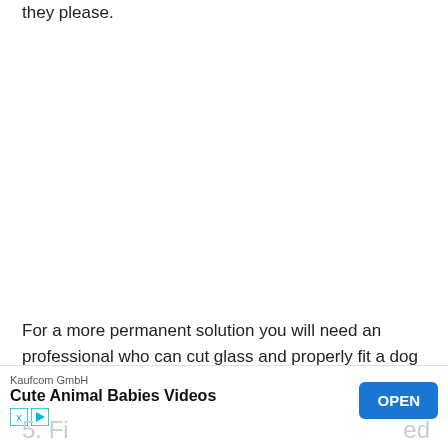they please.
For a more permanent solution you will need an professional who can cut glass and properly fit a dog flap.
[Figure (screenshot): Advertisement banner: Kaufcom GmbH - Cute Animal Babies Videos with OPEN button]
5. Fi...ed